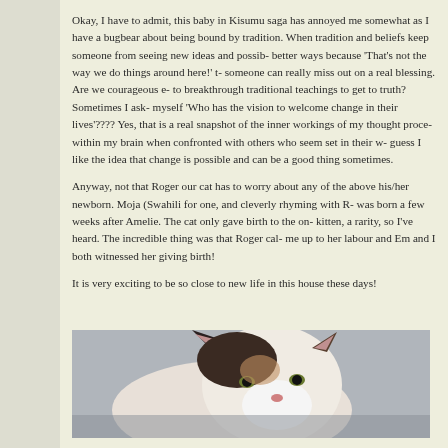Okay, I have to admit, this baby in Kisumu saga has annoyed me somewhat as I have a bugbear about being bound by tradition. When tradition and beliefs keep someone from seeing new ideas and possible better ways because 'That's not the way we do things around here!' someone can really miss out on a real blessing. Are we courageous enough to breakthrough traditional teachings to get to truth? Sometimes I ask myself 'Who has the vision to welcome change in their lives'???? Yes, that is a real snapshot of the inner workings of my thought process within my brain when confronted with others who seem set in their ways. I guess I like the idea that change is possible and can be a good thing sometimes.
Anyway, not that Roger our cat has to worry about any of the above with his/her newborn. Moja (Swahili for one, and cleverly rhyming with Roja) was born a few weeks after Amelie. The cat only gave birth to the one kitten, a rarity, so I've heard. The incredible thing was that Roger called me up to her labour and Em and I both witnessed her giving birth!
It is very exciting to be so close to new life in this house these days!
[Figure (photo): A close-up photograph of a cat (Roger), a black and white cat, photographed from above/side showing the top of its head and ears.]